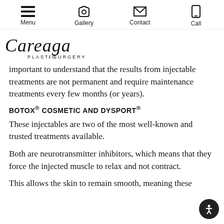Menu | Gallery | Contact | Call
[Figure (logo): Careaga Plastic Surgery logo in script font with tagline PLASTIC SURGERY]
important to understand that the results from injectable treatments are not permanent and require maintenance treatments every few months (or years).
BOTOX® COSMETIC AND DYSPORT®
These injectables are two of the most well-known and trusted treatments available.
Both are neurotransmitter inhibitors, which means that they force the injected muscle to relax and not contract.
This allows the skin to remain smooth, meaning these